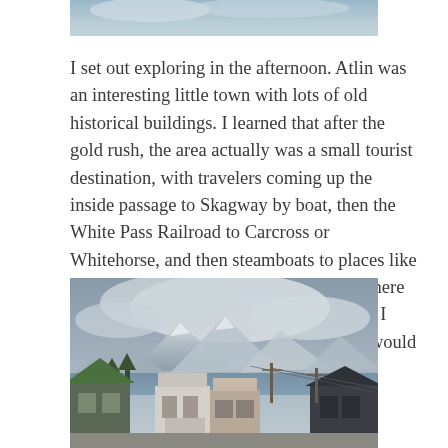[Figure (photo): Partial top edge of a landscape/sky photo, cropped at top of page]
I set out exploring in the afternoon.  Atlin was an interesting little town with lots of old historical buildings.  I learned that after the gold rush, the area actually was a small tourist destination, with travelers coming up the inside passage to Skagway by boat, then the White Pass Railroad to Carcross or Whitehorse, and then steamboats to places like Atlin.  All before you could easily get up here via air...and long before there was a road.  I wish I could have traveled back then...it would have been so epic.
[Figure (photo): Street scene of Atlin town with historic buildings in foreground, lake and snow-capped mountains with clouds in background]